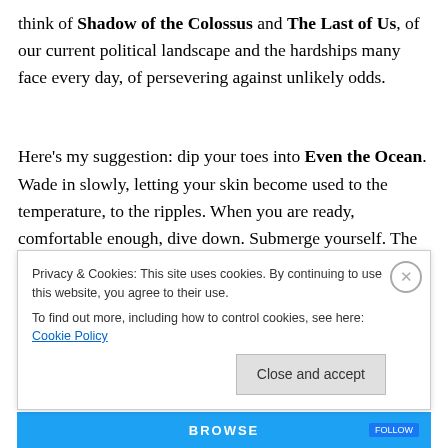think of Shadow of the Colossus and The Last of Us, of our current political landscape and the hardships many face every day, of persevering against unlikely odds.
Here's my suggestion: dip your toes into Even the Ocean. Wade in slowly, letting your skin become used to the temperature, to the ripples. When you are ready, comfortable enough, dive down. Submerge yourself. The
Privacy & Cookies: This site uses cookies. By continuing to use this website, you agree to their use.
To find out more, including how to control cookies, see here: Cookie Policy
Close and accept